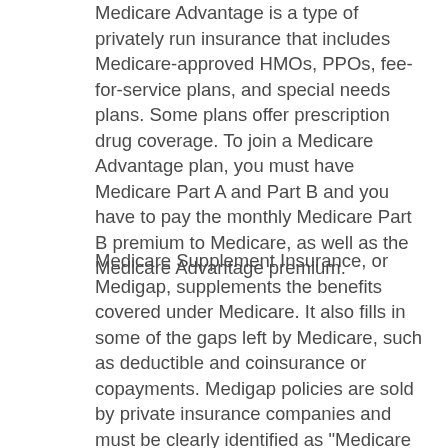Medicare Advantage is a type of privately run insurance that includes Medicare-approved HMOs, PPOs, fee-for-service plans, and special needs plans. Some plans offer prescription drug coverage. To join a Medicare Advantage plan, you must have Medicare Part A and Part B and you have to pay the monthly Medicare Part B premium to Medicare, as well as the Medicare Advantage premium.
Medicare Supplement Insurance, or Medigap, supplements the benefits covered under Medicare. It also fills in some of the gaps left by Medicare, such as deductible and coinsurance or copayments. Medigap policies are sold by private insurance companies and must be clearly identified as "Medicare Supplemental Insurance." Currently, 10 standardized plans are available (Plans A-D, F and G, and K-N) except in Massachusetts, Minnesota, and Wisconsin, which have their own standardized plans. Plans C and F are not available to newly eligible Medicare beneficiaries. Each lettered plan